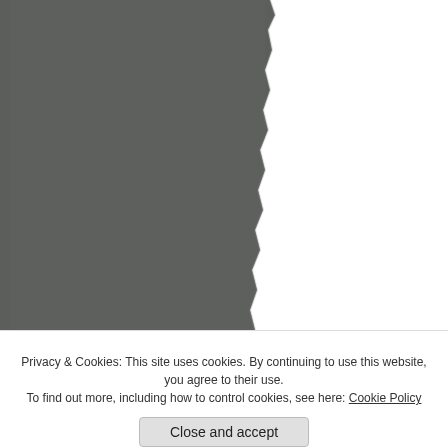[Figure (photo): Dark gray textured background panel on the left side, resembling torn or rough paper texture]
Share this:
Email
Loading...
LSAD Scho
Privacy & Cookies: This site uses cookies. By continuing to use this website, you agree to their use.
To find out more, including how to control cookies, see here: Cookie Policy
Close and accept